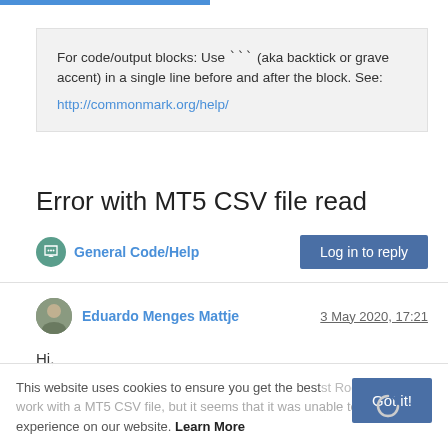For code/output blocks: Use ``` (aka backtick or grave accent) in a single line before and after the block. See: http://commonmark.org/help/
Error with MT5 CSV file read
General Code/Help
Log in to reply
Eduardo Menges Mattje
3 May 2020, 17:21
Hi,
This website uses cookies to ensure you get the best experience on our website. Learn More
Got it!